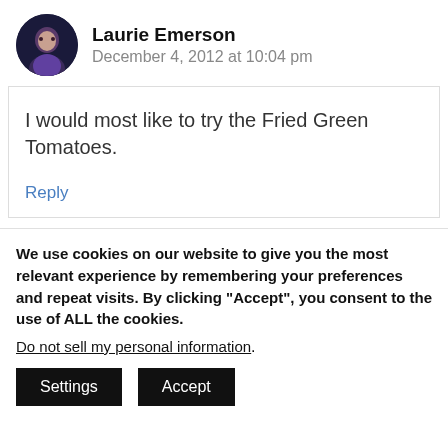Laurie Emerson
December 4, 2012 at 10:04 pm
I would most like to try the Fried Green Tomatoes.
Reply
We use cookies on our website to give you the most relevant experience by remembering your preferences and repeat visits. By clicking “Accept”, you consent to the use of ALL the cookies.
Do not sell my personal information.
Settings
Accept